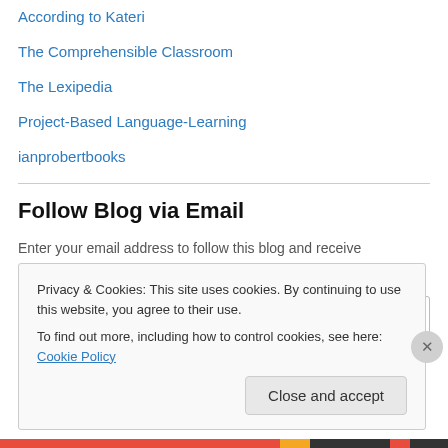According to Kateri
The Comprehensible Classroom
The Lexipedia
Project-Based Language-Learning
ianprobertbooks
Follow Blog via Email
Enter your email address to follow this blog and receive notifications of new posts by email.
Enter your email address
Privacy & Cookies: This site uses cookies. By continuing to use this website, you agree to their use.
To find out more, including how to control cookies, see here: Cookie Policy
Close and accept